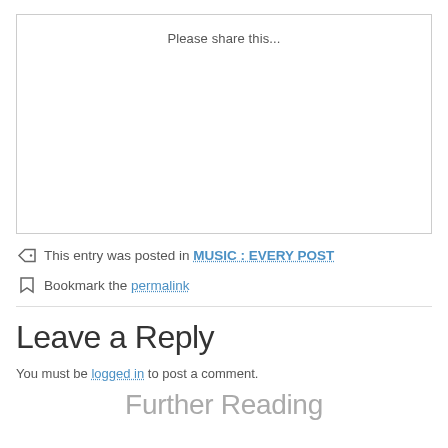[Figure (other): A bordered box with the text 'Please share this...' at the top center, representing a social sharing widget placeholder.]
This entry was posted in MUSIC : EVERY POST
Bookmark the permalink
Leave a Reply
You must be logged in to post a comment.
Further Reading